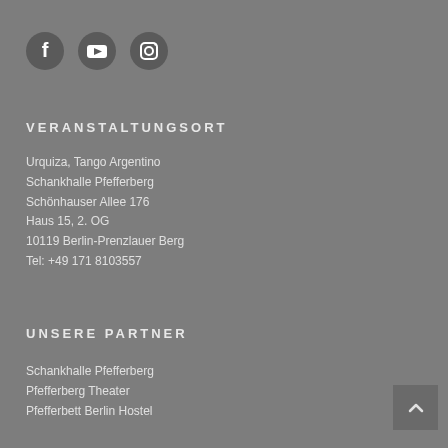[Figure (illustration): Three social media icons: Facebook, YouTube, Instagram — white icons on dark circular backgrounds]
VERANSTALTUNGSORT
Urquiza, Tango Argentino
Schankhalle Pfefferberg
Schönhauser Allee 176
Haus 15, 2. OG
10119 Berlin-Prenzlauer Berg
Tel: +49 171 8103557
UNSERE PARTNER
Schankhalle Pfefferberg
Pfefferberg Theater
Pfefferbett Berlin Hostel
[Figure (illustration): Back to top button — small square with upward arrow]